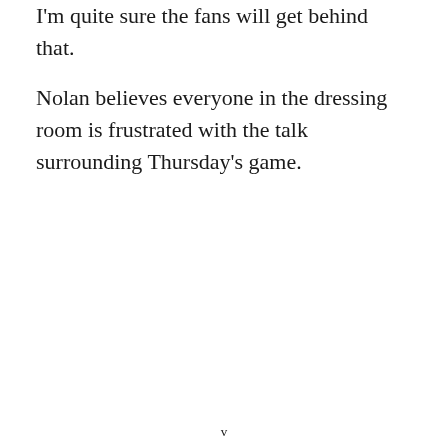I'm quite sure the fans will get behind that.
Nolan believes everyone in the dressing room is frustrated with the talk surrounding Thursday's game.
v